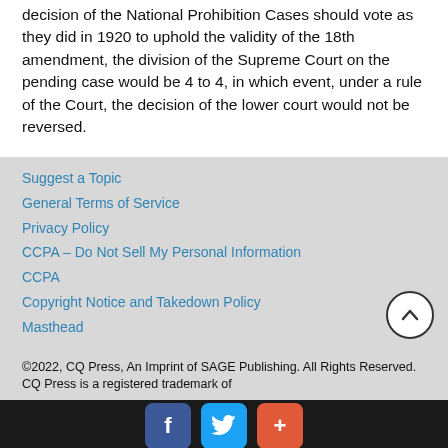decision of the National Prohibition Cases should vote as they did in 1920 to uphold the validity of the 18th amendment, the division of the Supreme Court on the pending case would be 4 to 4, in which event, under a rule of the Court, the decision of the lower court would not be reversed.
Suggest a Topic
General Terms of Service
Privacy Policy
CCPA – Do Not Sell My Personal Information
CCPA
Copyright Notice and Takedown Policy
Masthead
©2022, CQ Press, An Imprint of SAGE Publishing. All Rights Reserved. CQ Press is a registered trademark of